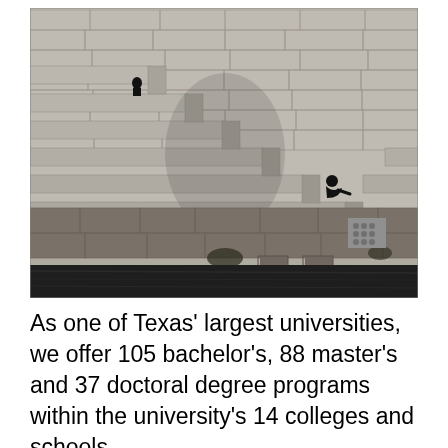[Figure (photo): Black and white photograph of a large stone stepped embankment or quay wall along a river. Two small figures are visible sitting on the steps at different levels. The steps are made of large stone blocks and descend toward dark water at the bottom.]
As one of Texas' largest universities, we offer 105 bachelor's, 88 master's and 37 doctoral degree programs within the university's 14 colleges and schools.